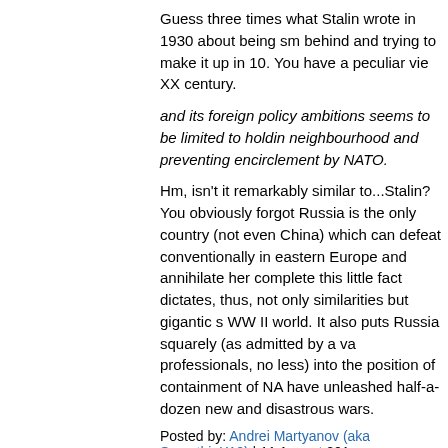Guess three times what Stalin wrote in 1930 about being sm behind and trying to make it up in 10. You have a peculiar vie XX century.
and its foreign policy ambitions seems to be limited to holdin neighbourhood and preventing encirclement by NATO.
Hm, isn't it remarkably similar to...Stalin? You obviously forgot Russia is the only country (not even China) which can defeat conventionally in eastern Europe and annihilate her complete this little fact dictates, thus, not only similarities but gigantic s WW II world. It also puts Russia squarely (as admitted by a va professionals, no less) into the position of containment of NA have unleashed half-a-dozen new and disastrous wars.
Posted by: Andrei Martyanov (aka SmoothieX12) | 11 August 201
[Figure (photo): Avatar photo of a man in a suit and tie]
Thank you David for this, I learned a lot. Unfortunately none o in e-form and I rarely buy actual books any more. I read Icebr asked Glantz what he thought of it; he dismissed it and that v would dare disagree on these subjects with David Galntz?) PS What I remember from AJP Taylor's book, when I first hear was the rather preposterous surname Plunkett-Ernle-Earl--Dr